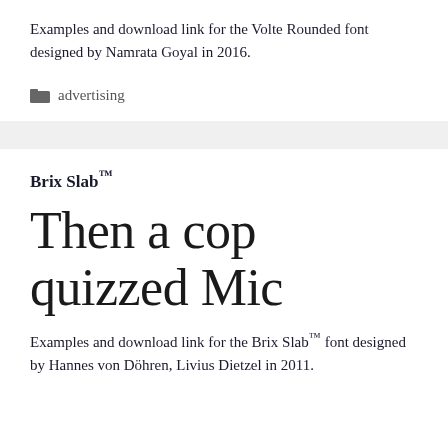Examples and download link for the Volte Rounded font designed by Namrata Goyal in 2016.
advertising
Brix Slab™
Then a cop quizzed Mic
Examples and download link for the Brix Slab™ font designed by Hannes von Döhren, Livius Dietzel in 2011.